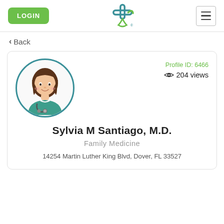[Figure (screenshot): Navigation header with LOGIN button, medical cross logo, and hamburger menu]
< Back
[Figure (illustration): Doctor profile card with circular avatar of female doctor in teal scrubs with stethoscope, Profile ID: 6466, 204 views]
Sylvia M Santiago, M.D.
Family Medicine
14254 Martin Luther King Blvd, Dover, FL 33527